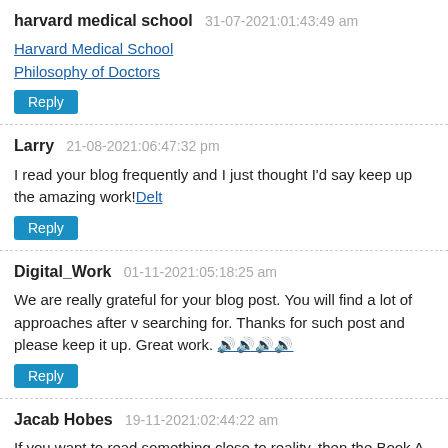harvard medical school   31-07-2021:01:43:49 am
Harvard Medical School
Philosophy of Doctors
Reply
Larry   21-08-2021:06:47:32 pm
I read your blog frequently and I just thought I'd say keep up the amazing work! Delt
Reply
Digital_Work   01-11-2021:05:18:25 am
We are really grateful for your blog post. You will find a lot of approaches after v searching for. Thanks for such post and please keep it up. Great work. 🔊🔊🔊🔊
Reply
Jacab Hobes   19-11-2021:02:44:22 am
If you want to read something close to reality, then the Book A Black Man's Voic easily get better knowledge A Black Mans Voice
Reply